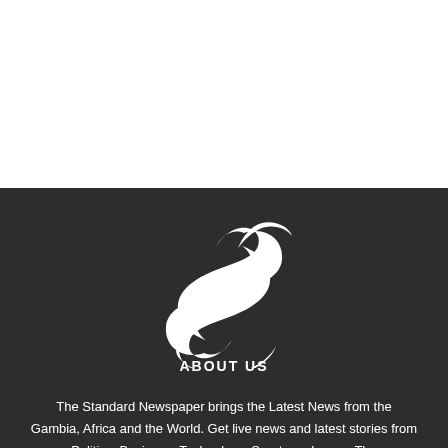[Figure (logo): Stylized calligraphic letter S logo in white on dark background, representing The Standard Newspaper]
ABOUT US
The Standard Newspaper brings the Latest News from the Gambia, Africa and the World. Get live news and latest stories from Politics, Business, Technology, Sports and more. The